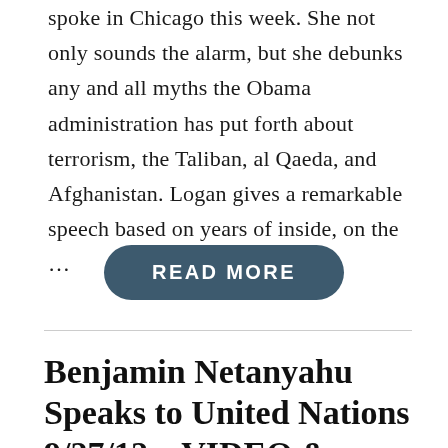spoke in Chicago this week. She not only sounds the alarm, but she debunks any and all myths the Obama administration has put forth about terrorism, the Taliban, al Qaeda, and Afghanistan. Logan gives a remarkable speech based on years of inside, on the …
READ MORE
Benjamin Netanyahu Speaks to United Nations 9/27/12 – VIDEO &